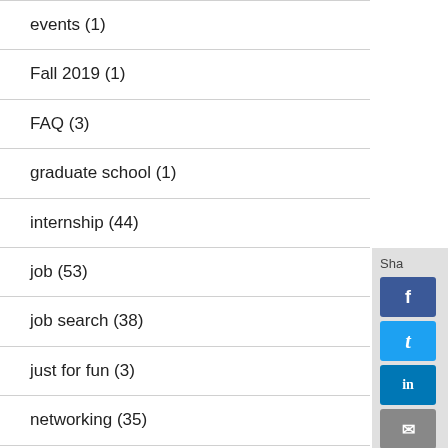events (1)
Fall 2019 (1)
FAQ (3)
graduate school (1)
internship (44)
job (53)
job search (38)
just for fun (3)
networking (35)
plan (83)
planning (1)